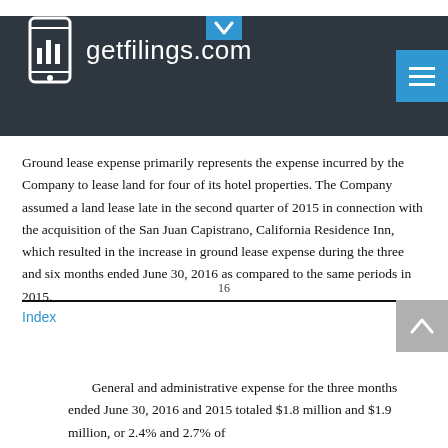getfilings.com
Ground lease expense primarily represents the expense incurred by the Company to lease land for four of its hotel properties. The Company assumed a land lease late in the second quarter of 2015 in connection with the acquisition of the San Juan Capistrano, California Residence Inn, which resulted in the increase in ground lease expense during the three and six months ended June 30, 2016 as compared to the same periods in 2015.
16
Index
General and administrative expense for the three months ended June 30, 2016 and 2015 totaled $1.8 million and $1.9 million, or 2.4% and 2.7% of